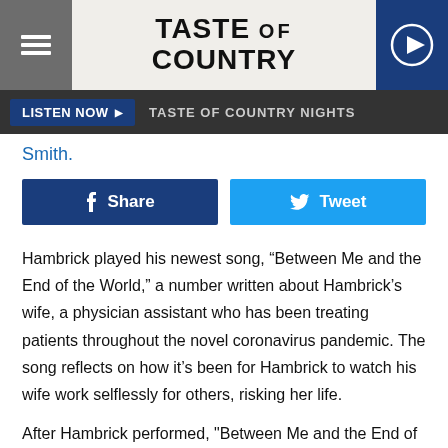TASTE OF COUNTRY
LISTEN NOW ▶  TASTE OF COUNTRY NIGHTS
Smith.
Share  Tweet
Hambrick played his newest song, “Between Me and the End of the World,” a number written about Hambrick’s wife, a physician assistant who has been treating patients throughout the novel coronavirus pandemic. The song reflects on how it’s been for Hambrick to watch his wife work selflessly for others, risking her life.
After Hambrick performed, "Between Me and the End of the World" climbed to No. 6 on the iTunes country chart. Clearly,